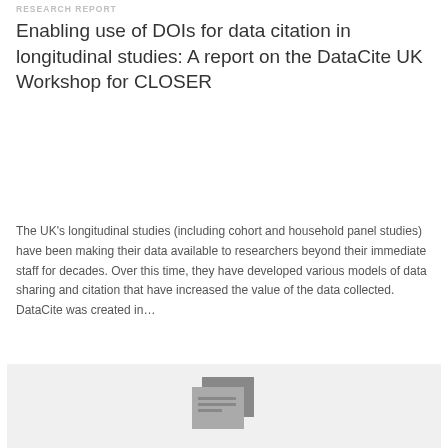RESEARCH REPORT
Enabling use of DOIs for data citation in longitudinal studies: A report on the DataCite UK Workshop for CLOSER
The UK’s longitudinal studies (including cohort and household panel studies) have been making their data available to researchers beyond their immediate staff for decades. Over this time, they have developed various models of data sharing and citation that have increased the value of the data collected. DataCite was created in…
British Library
[Figure (illustration): Thumbnail preview of a document report cover page showing stacked document icon in grey tones on a light grey background]